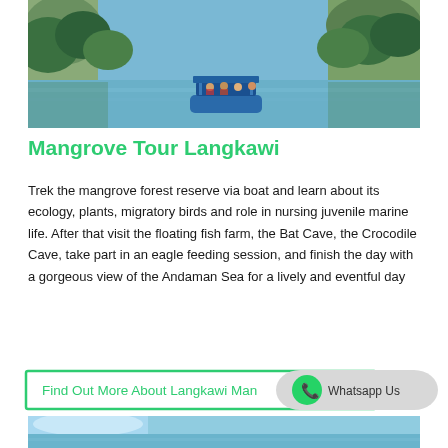[Figure (photo): A blue boat with passengers navigating through a calm river surrounded by dense mangrove forest and rocky cliffs]
Mangrove Tour Langkawi
Trek the mangrove forest reserve via boat and learn about its ecology, plants, migratory birds and role in nursing juvenile marine life. After that visit the floating fish farm, the Bat Cave, the Crocodile Cave, take part in an eagle feeding session, and finish the day with a gorgeous view of the Andaman Sea for a lively and eventful day
[Figure (screenshot): Button: Find Out More About Langkawi Man... Tour, with overlapping WhatsApp Us badge]
[Figure (photo): Partial blue sky and water scene at the bottom of the page]